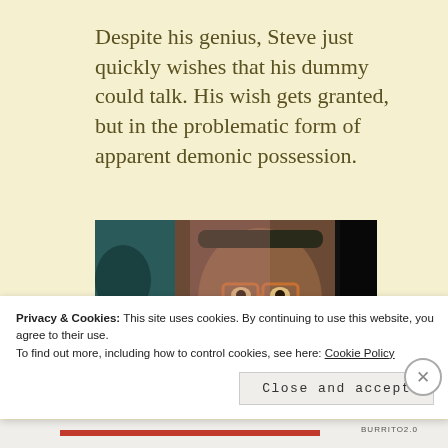Despite his genius, Steve just quickly wishes that his dummy could talk. His wish gets granted, but in the problematic form of apparent demonic possession.
[Figure (photo): A close-up photo of a ventriloquist dummy/puppet wearing glasses, with an older man's face, dark background with teal/blue tones on the left side.]
Privacy & Cookies: This site uses cookies. By continuing to use this website, you agree to their use.
To find out more, including how to control cookies, see here: Cookie Policy
Close and accept